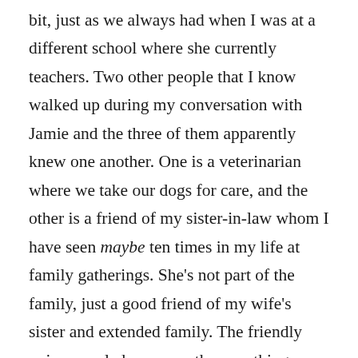bit, just as we always had when I was at a different school where she currently teachers. Two other people that I know walked up during my conversation with Jamie and the three of them apparently knew one another. One is a veterinarian where we take our dogs for care, and the other is a friend of my sister-in-law whom I have seen maybe ten times in my life at family gatherings. She's not part of the family, just a good friend of my wife's sister and extended family. The friendly union puzzled me more than anything because even after I awoke, I couldn't place who that third person was.